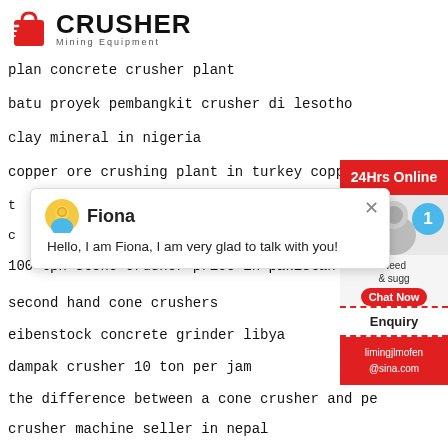[Figure (logo): Crusher Mining Equipment logo with red shopping bag icon and bold CRUSHER text]
plan concrete crusher plant
batu proyek pembangkit crusher di lesotho
clay mineral in nigeria
copper ore crushing plant in turkey copp
[Figure (screenshot): Chat popup with avatar of Fiona, name Fiona, message: Hello, I am Fiona, I am very glad to talk with you! with close X button]
100 tph stone crusher price in pakistan
second hand cone crushers
eibenstock concrete grinder libya
dampak crusher 10 ton per jam
the difference between a cone crusher and pe
crusher machine seller in nepal
[Figure (infographic): Right sidebar with 24Hrs Online red banner, chat section showing Need & suggestions with badge 1, Chat Now button, Enquiry section, and email limingjlmofen@sina.com]